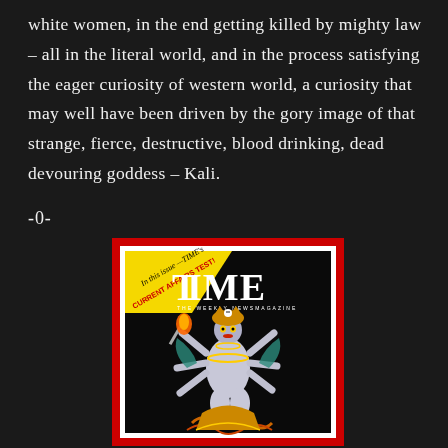white women, in the end getting killed by mighty law – all in the literal world, and in the process satisfying the eager curiosity of western world, a curiosity that may well have been driven by the gory image of that strange, fierce, destructive, blood drinking, dead devouring goddess – Kali.
-0-
[Figure (illustration): Time magazine cover showing Kali, the Hindu goddess, depicted in an illustrated style with multiple arms, holding weapons, with decorative jewelry and a crown. The cover reads 'TIME THE WEEKLY NEWSMAGAZINE' and has a banner 'In this issue — TIME's CURRENT AFFAIRS TEST!' on a yellow diagonal stripe. The magazine is shown with a red border against a dark background.]